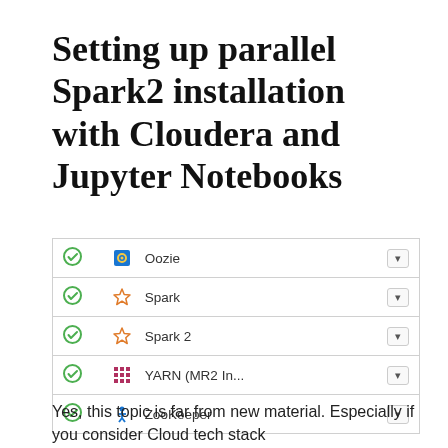Setting up parallel Spark2 installation with Cloudera and Jupyter Notebooks
[Figure (screenshot): A UI panel showing a list of services (Oozie, Spark, Spark 2, YARN (MR2 In..., ZooKeeper) each with a green checkmark icon, a service icon, and a dropdown button on the right.]
Yes, this topic is far from new material. Especially if you consider Cloud tech stack